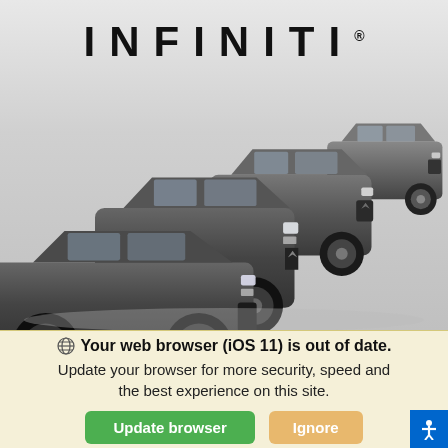[Figure (photo): INFINITI brand advertisement showing the logo at top and multiple dark-colored INFINITI vehicles (sedan, SUVs) arranged diagonally on a light gray background]
Your web browser (iOS 11) is out of date. Update your browser for more security, speed and the best experience on this site.
Update browser
Ignore